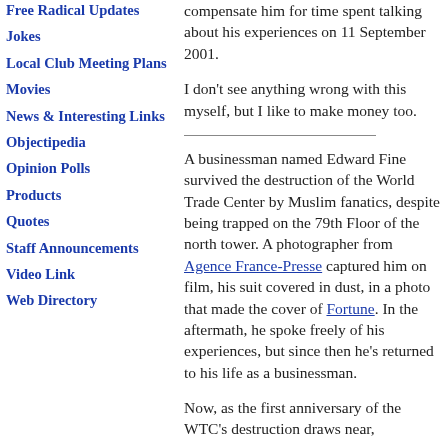Free Radical Updates
Jokes
Local Club Meeting Plans
Movies
News & Interesting Links
Objectipedia
Opinion Polls
Products
Quotes
Staff Announcements
Video Link
Web Directory
compensate him for time spent talking about his experiences on 11 September 2001.
I don't see anything wrong with this myself, but I like to make money too.
A businessman named Edward Fine survived the destruction of the World Trade Center by Muslim fanatics, despite being trapped on the 79th Floor of the north tower. A photographer from Agence France-Presse captured him on film, his suit covered in dust, in a photo that made the cover of Fortune. In the aftermath, he spoke freely of his experiences, but since then he's returned to his life as a businessman.
Now, as the first anniversary of the WTC's destruction draws near,